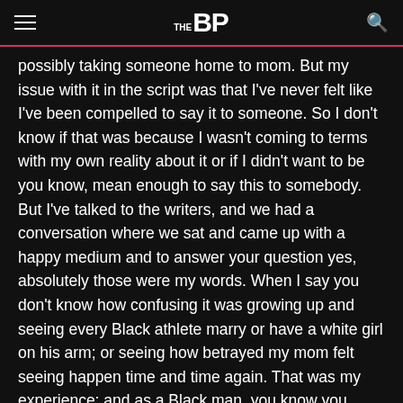THE BP
possibly taking someone home to mom. But my issue with it in the script was that I've never felt like I've been compelled to say it to someone. So I don't know if that was because I wasn't coming to terms with my own reality about it or if I didn't want to be you know, mean enough to say this to somebody. But I've talked to the writers, and we had a conversation where we sat and came up with a happy medium and to answer your question yes, absolutely those were my words. When I say you don't know how confusing it was growing up and seeing every Black athlete marry or have a white girl on his arm; or seeing how betrayed my mom felt seeing happen time and time again. That was my experience; and as a Black man, you know you have that sometimes. You know, you have people who are just like Floyd, who are like I know what I want my family to look like, but at the same time he's a flawed